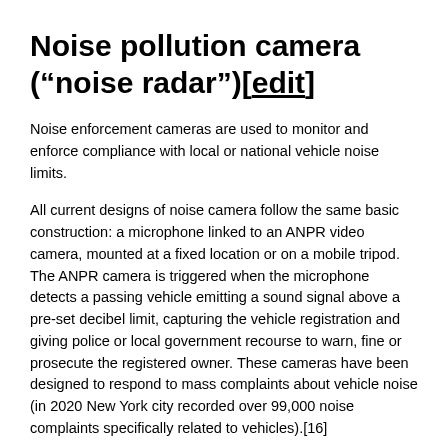Noise pollution camera (“noise radar”)[edit]
Noise enforcement cameras are used to monitor and enforce compliance with local or national vehicle noise limits.
All current designs of noise camera follow the same basic construction: a microphone linked to an ANPR video camera, mounted at a fixed location or on a mobile tripod. The ANPR camera is triggered when the microphone detects a passing vehicle emitting a sound signal above a pre-set decibel limit, capturing the vehicle registration and giving police or local government recourse to warn, fine or prosecute the registered owner. These cameras have been designed to respond to mass complaints about vehicle noise (in 2020 New York city recorded over 99,000 noise complaints specifically related to vehicles).[16]
Trials of noise cameras have been conducted in cities